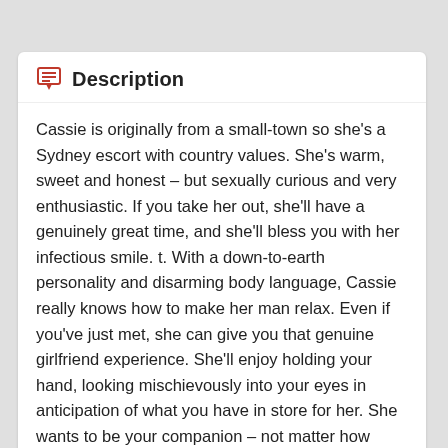Description
Cassie is originally from a small-town so she's a Sydney escort with country values. She's warm, sweet and honest – but sexually curious and very enthusiastic. If you take her out, she'll have a genuinely great time, and she'll bless you with her infectious smile. t. With a down-to-earth personality and disarming body language, Cassie really knows how to make her man relax. Even if you've just met, she can give you that genuine girlfriend experience. She'll enjoy holding your hand, looking mischievously into your eyes in anticipation of what you have in store for her. She wants to be your companion – not matter how temporary – and to share memories with you here in Sydney. Cassie respects hardworking men and she's eager to show her appreciation by giving them an experience they'll never forget. Don't be fooled by her disarming charm and genuine